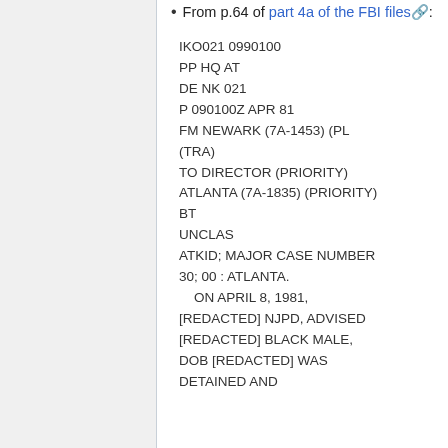From p.64 of part 4a of the FBI files:
IKO021 0990100
PP HQ AT
DE NK 021
P 090100Z APR 81
FM NEWARK (7A-1453) (PL (TRA)
TO DIRECTOR (PRIORITY)
ATLANTA (7A-1835) (PRIORITY)
BT
UNCLAS
ATKID; MAJOR CASE NUMBER 30; 00 : ATLANTA.
    ON APRIL 8, 1981, [REDACTED] NJPD, ADVISED [REDACTED] BLACK MALE, DOB [REDACTED] WAS DETAINED AND